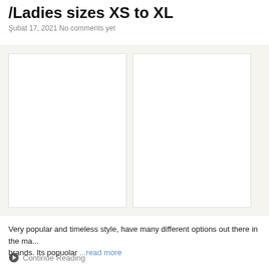/Ladies sizes XS to XL
Şubat 17, 2021 No comments yet
[Figure (photo): Three white/blank image placeholders arranged side by side in a row against a light beige/cream background, suggesting product photos that have not loaded.]
Very popular and timeless style, have many different options out there in the ma... brands. Its popuolar ...read more
Continue Reading